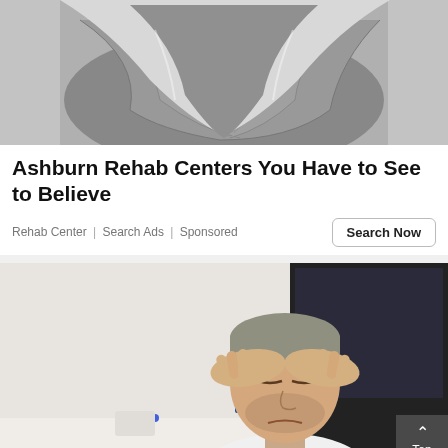[Figure (photo): Black and white photo of a person hugging their knees, showing muscular arms and distressed posture against a wall]
Ashburn Rehab Centers You Have to See to Believe
Rehab Center | Search Ads | Sponsored
[Figure (photo): Man with beard sitting at a desk, holding his hands over his face/forehead with eyes closed, looking stressed, office background with a monitor and shelves visible]